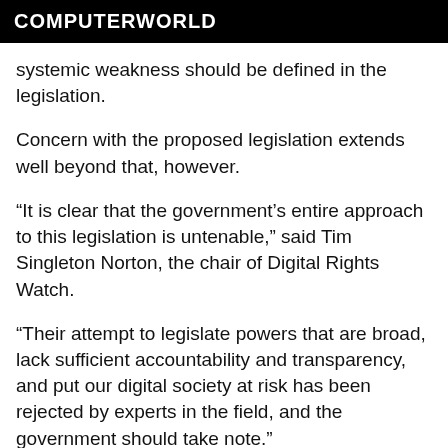COMPUTERWORLD
systemic weakness should be defined in the legislation.
Concern with the proposed legislation extends well beyond that, however.
“It is clear that the government’s entire approach to this legislation is untenable,” said Tim Singleton Norton, the chair of Digital Rights Watch.
“Their attempt to legislate powers that are broad, lack sufficient accountability and transparency, and put our digital society at risk has been rejected by experts in the field, and the government should take note.”